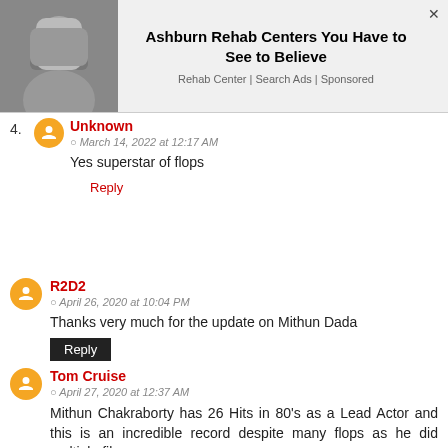[Figure (photo): Ad banner: black and white photo of a person covering their face, with advertisement text 'Ashburn Rehab Centers You Have to See to Believe', subtitle 'Rehab Center | Search Ads | Sponsored']
4. Unknown
March 14, 2022 at 12:17 AM
Yes superstar of flops
Reply
R2D2
April 26, 2020 at 10:04 PM
Thanks very much for the update on Mithun Dada
Reply
Tom Cruise
April 27, 2020 at 12:37 AM
Mithun Chakraborty has 26 Hits in 80's as a Lead Actor and this is an incredible record despite many flops as he did multiple films